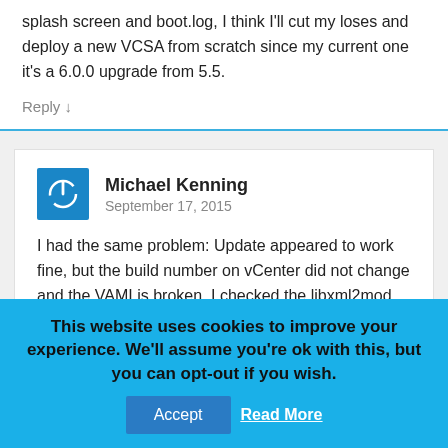splash screen and boot.log, I think I'll cut my loses and deploy a new VCSA from scratch since my current one it's a 6.0.0 upgrade from 5.5.
Reply ↓
Michael Kenning
September 17, 2015
I had the same problem: Update appeared to work fine, but the build number on vCenter did not change and the VAMI is broken. I checked the libxml2mod version and it is the old version. Running the upgrade again yielded the message that there was nothing to do. I'm going to have to deploy a new appliance as Chafic, though mine was a 6.0b deployment, not
This website uses cookies to improve your experience. We'll assume you're ok with this, but you can opt-out if you wish.
Accept
Read More